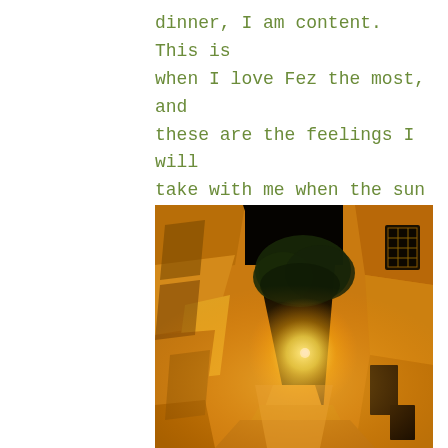dinner, I am content. This is when I love Fez the most, and these are the feelings I will take with me when the sun rises again.
[Figure (photo): A narrow alleyway in Fez at night, illuminated by warm orange-yellow artificial lighting. Tall weathered stone/plaster walls rise on both sides. A single light source glows in the middle distance. Dark sky and foliage of a tree visible at the top.]